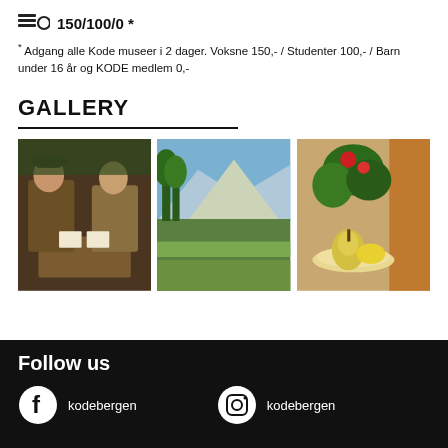150/100/0 *
* Adgang alle Kode museer i 2 dager. Voksne 150,- / Studenter 100,- / Barn under 16 år og KODE medlem 0,-
GALLERY
[Figure (photo): Three classical paintings displayed side by side: card players, mountain landscape, and still life with fruit and plant]
Follow us
kodebergen
kodebergen